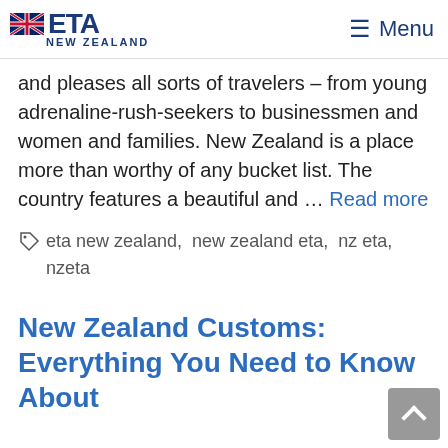ETA NEW ZEALAND | Menu
and pleases all sorts of travelers – from young adrenaline-rush-seekers to businessmen and women and families. New Zealand is a place more than worthy of any bucket list. The country features a beautiful and … Read more
eta new zealand, new zealand eta, nz eta, nzeta
New Zealand Customs: Everything You Need to Know About